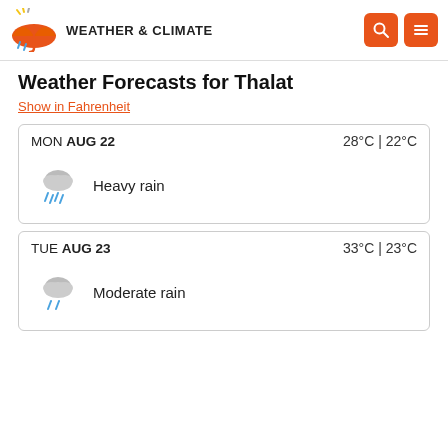WEATHER & CLIMATE
Weather Forecasts for Thalat
Show in Fahrenheit
MON AUG 22  28°C | 22°C  Heavy rain
TUE AUG 23  33°C | 23°C  Moderate rain